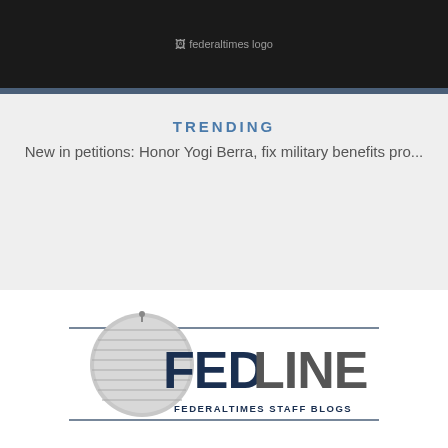[Figure (logo): Federal Times logo in black header bar]
TRENDING
New in petitions: Honor Yogi Berra, fix military benefits pro...
[Figure (logo): FEDLINE - Federaltimes Staff Blogs logo with Capitol dome graphic]